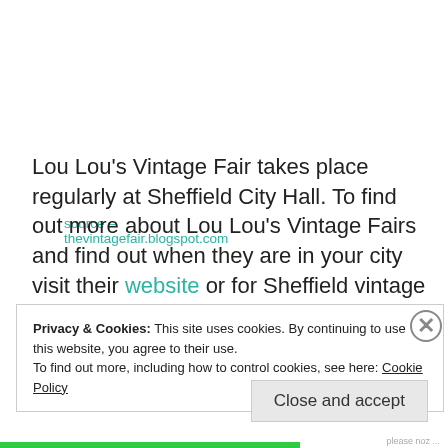source – thevintagefair.blogspot.com
Lou Lou's Vintage Fair takes place regularly at Sheffield City Hall. To find out more about Lou Lou's Vintage Fairs and find out when they are in your city visit their website or for Sheffield vintage lovers check out their Facebook page.
Privacy & Cookies: This site uses cookies. By continuing to use this website, you agree to their use.
To find out more, including how to control cookies, see here: Cookie Policy
Close and accept